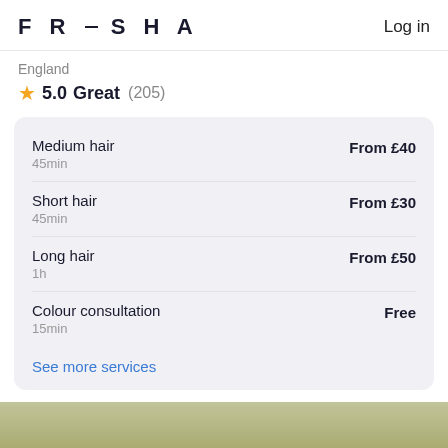FRESHA  Log in
England
5.0 Great (205)
| Service | Duration | Price |
| --- | --- | --- |
| Medium hair | 45min | From £40 |
| Short hair | 45min | From £30 |
| Long hair | 1h | From £50 |
| Colour consultation | 15min | Free |
See more services
[Figure (photo): Bottom image strip showing a light olive/green blurred background]